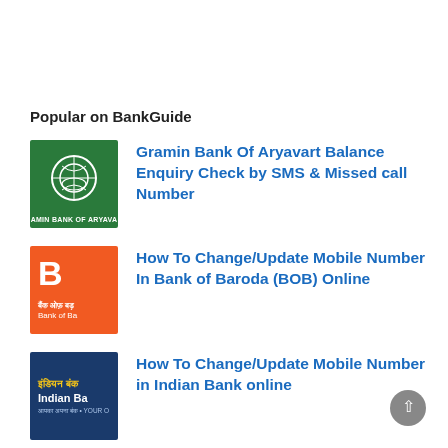Popular on BankGuide
Gramin Bank Of Aryavart Balance Enquiry Check by SMS & Missed call Number
How To Change/Update Mobile Number In Bank of Baroda (BOB) Online
How To Change/Update Mobile Number in Indian Bank online